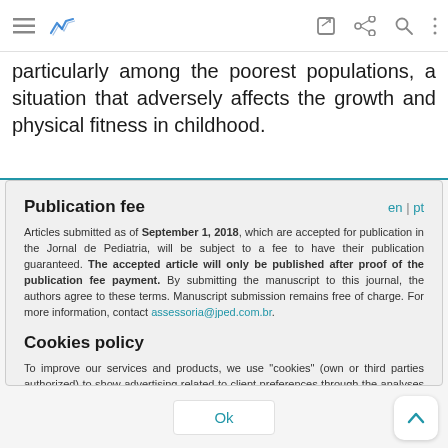Navigation bar with menu, logo, edit, share, search, and more icons
particularly among the poorest populations, a situation that adversely affects the growth and physical fitness in childhood.
Publication fee
Articles submitted as of September 1, 2018, which are accepted for publication in the Jornal de Pediatria, will be subject to a fee to have their publication guaranteed. The accepted article will only be published after proof of the publication fee payment. By submitting the manuscript to this journal, the authors agree to these terms. Manuscript submission remains free of charge. For more information, contact assessoria@jped.com.br.
Cookies policy
To improve our services and products, we use "cookies" (own or third parties authorized) to show advertising related to client preferences through the analyses of navigation customer behavior. Continuing navigation will be considered as acceptance of this use. You can change the settings or obtain more information by clicking here.